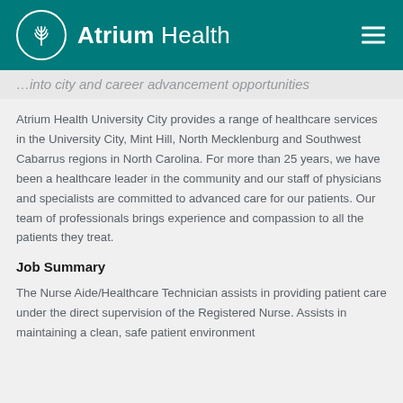Atrium Health
…into city and career advancement opportunities
Atrium Health University City provides a range of healthcare services in the University City, Mint Hill, North Mecklenburg and Southwest Cabarrus regions in North Carolina. For more than 25 years, we have been a healthcare leader in the community and our staff of physicians and specialists are committed to advanced care for our patients. Our team of professionals brings experience and compassion to all the patients they treat.
Job Summary
The Nurse Aide/Healthcare Technician assists in providing patient care under the direct supervision of the Registered Nurse. Assists in maintaining a clean, safe patient environment